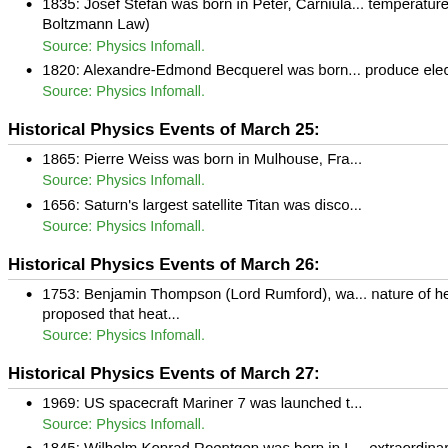1835: Josef Stefan was born in Peter, Carniola... temperature in 1879. (Stefan-Boltzmann Law)
Source: Physics Infomall.
1820: Alexandre-Edmond Becquerel was born... produce electric currents.
Source: Physics Infomall.
Historical Physics Events of March 25:
1865: Pierre Weiss was born in Mulhouse, Fra...
Source: Physics Infomall.
1656: Saturn's largest satellite Titan was disco...
Source: Physics Infomall.
Historical Physics Events of March 26:
1753: Benjamin Thompson (Lord Rumford), wa... nature of heat. In 1798, he proposed that heat...
Source: Physics Infomall.
Historical Physics Events of March 27:
1969: US spacecraft Mariner 7 was launched t...
Source: Physics Infomall.
1845: Wilhelm Konrad Roentgen was born in L... extraordinary services he has rendered by the...
Source: Physics Infomall.